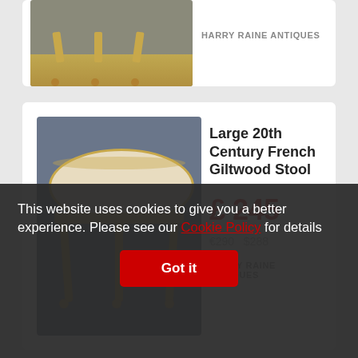[Figure (photo): Partially visible antique chair with gilded legs on grey background]
HARRY RAINE ANTIQUES
[Figure (photo): Large 20th Century French Giltwood Stool with cream upholstery and gilded legs on grey background]
Large 20th Century French Giltwood Stool
£ 245
€290   $288
HARRY RAINE ANTIQUES
[Figure (photo): Partially visible antique French Giltwood Stool with Union Jack fabric]
French Giltwood Stool - Union Jack
Reserved
HARRY RAINE ANTIQUES
This website uses cookies to give you a better experience. Please see our Cookie Policy for details